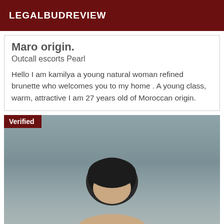LEGALBUDREVIEW
Maro origin.
Outcall escorts Pearl
Hello I am kamilya a young natural woman refined brunette who welcomes you to my home . A young class, warm, attractive I am 27 years old of Moroccan origin.
[Figure (photo): A verified profile photo showing a person with dark hair, photographed from above against a gray/blue-toned background. A 'Verified' badge appears in the top-left corner of the photo.]